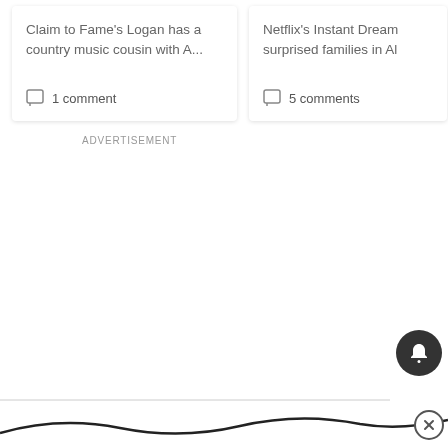Claim to Fame's Logan has a country music cousin with A...
1 comment
Netflix's Instant Dream surprised families in Al
5 comments
ADVERTISEMENT
[Figure (other): Bell notification button (dark circle with bell icon) in bottom right area]
[Figure (other): Wave/curve decorative graphic at bottom with close X button]